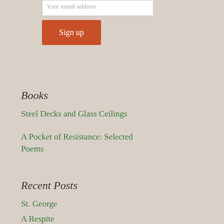[Figure (other): Email input field with placeholder text 'Your email address' and a dark orange 'Sign up' button below it]
Books
Steel Decks and Glass Ceilings
A Pocket of Resistance: Selected Poems
Recent Posts
St. George
A Respite